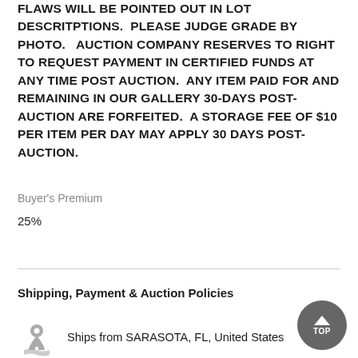FLAWS WILL BE POINTED OUT IN LOT DESCRITPTIONS. PLEASE JUDGE GRADE BY PHOTO. AUCTION COMPANY RESERVES TO RIGHT TO REQUEST PAYMENT IN CERTIFIED FUNDS AT ANY TIME POST AUCTION. ANY ITEM PAID FOR AND REMAINING IN OUR GALLERY 30-DAYS POST-AUCTION ARE FORFEITED. A STORAGE FEE OF $10 PER ITEM PER DAY MAY APPLY 30 DAYS POST-AUCTION.
Buyer's Premium
25%
Shipping, Payment & Auction Policies
Ships from SARASOTA, FL, United States